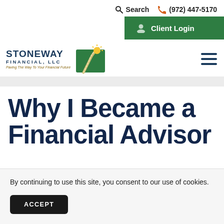Search  (972) 447-5170
[Figure (logo): Stoneway Financial, LLC logo with green hill and path graphic. Text: STONEWAY FINANCIAL, LLC. Tagline: Paving The Way To Your Financial Future]
Why I Became a Financial Advisor
By continuing to use this site, you consent to our use of cookies.
ACCEPT